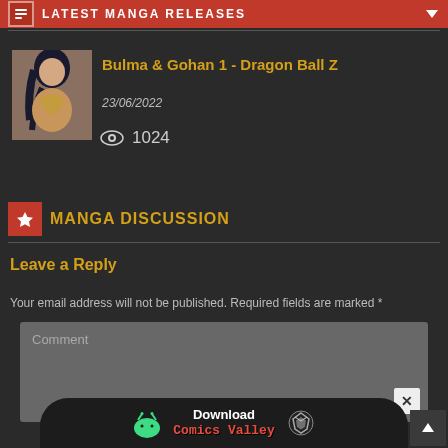LATEST MANGA RELEASES
Bulma & Gohan 1 - Dragon Ball Z
23/06/2022
1024
MANGA DISCUSSION
Leave a Reply
Your email address will not be published. Required fields are marked *
Comment
Download Comics Valley